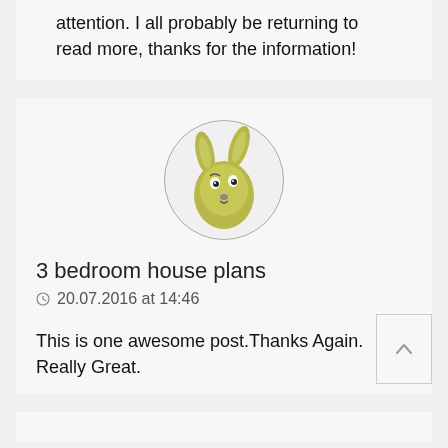attention. I all probably be returning to read more, thanks for the information!
[Figure (illustration): Cartoon rabbit/kangaroo character avatar in a circle, olive/yellow-green colored 3D render]
3 bedroom house plans
20.07.2016 at 14:46
This is one awesome post.Thanks Again. Really Great.